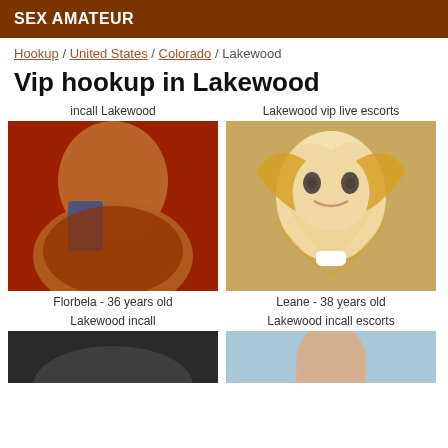SEX AMATEUR
Hookup / United States / Colorado / Lakewood
Vip hookup in Lakewood
incall Lakewood
[Figure (photo): Photo of Florbela, a woman posing against a red background]
Florbela - 36 years old
Lakewood vip live escorts
[Figure (illustration): Comic-style illustration of a blonde woman]
Leane - 38 years old
Lakewood incall
[Figure (photo): Partial photo, dark tones]
Lakewood incall escorts
[Figure (photo): Partial photo of a woman with light background]